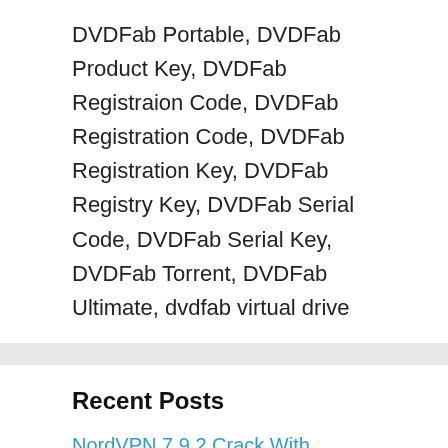DVDFab Portable, DVDFab Product Key, DVDFab Registraion Code, DVDFab Registration Code, DVDFab Registration Key, DVDFab Registry Key, DVDFab Serial Code, DVDFab Serial Key, DVDFab Torrent, DVDFab Ultimate, dvdfab virtual drive
Recent Posts
NordVPN 7.9.2 Crack With License Key Full Free Download 2022
Microsoft OneNote 2208 Build 15601.20088 Crack With Key Download Here!
IObit Uninstaller 12.0.0.10 Crack + Full Version Free Download [New]